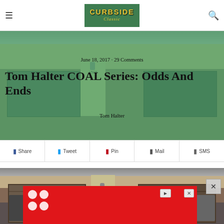Curbside Classic
June 18, 2017 · 29 Comments
Tom Halter COAL Series: Odds And Ends
Tom Halter
Share  Tweet  Pin  Mail  SMS
[Figure (photo): Garage photo showing a two-car garage with open doors, two cars visible inside, center column with house number 1605, exterior light fixture, brick facade and shingle roof]
[Figure (other): Red advertisement overlay with white polka dot decorative element, close button, and ad control arrows]